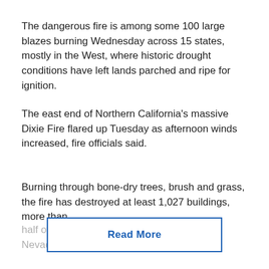The dangerous fire is among some 100 large blazes burning Wednesday across 15 states, mostly in the West, where historic drought conditions have left lands parched and ripe for ignition.
The east end of Northern California's massive Dixie Fire flared up Tuesday as afternoon winds increased, fire officials said.
Burning through bone-dry trees, brush and grass, the fire has destroyed at least 1,027 buildings, more than half of them homes in the northern Sierra Nevada.
Read More